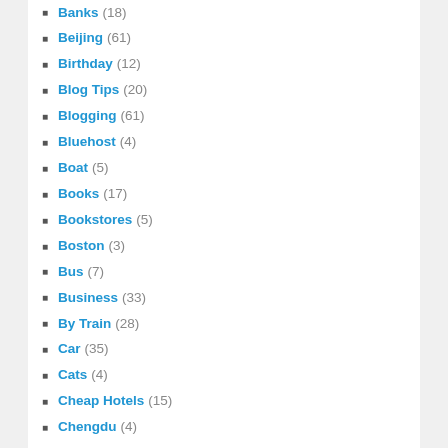Banks (18)
Beijing (61)
Birthday (12)
Blog Tips (20)
Blogging (61)
Bluehost (4)
Boat (5)
Books (17)
Bookstores (5)
Boston (3)
Bus (7)
Business (33)
By Train (28)
Car (35)
Cats (4)
Cheap Hotels (15)
Chengdu (4)
Chicago (2)
China (42)
Chinese Holidays (26)
Chongming Island (7)
Conference (24)